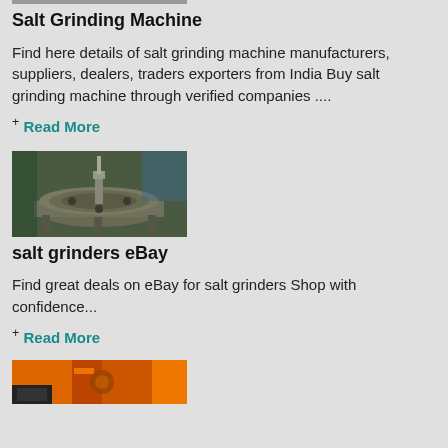[Figure (photo): Top portion of a salt grinding machine image, cropped at top]
Salt Grinding Machine
Find here details of salt grinding machine manufacturers, suppliers, dealers, traders exporters from India Buy salt grinding machine through verified companies ....
+ Read More
[Figure (photo): Industrial salt grinding/milling machine — a large flat circular disc grinder with drill mechanism on a workshop floor]
salt grinders eBay
Find great deals on eBay for salt grinders Shop with confidence...
+ Read More
[Figure (photo): Orange industrial grinding machine, partially visible at bottom of page]